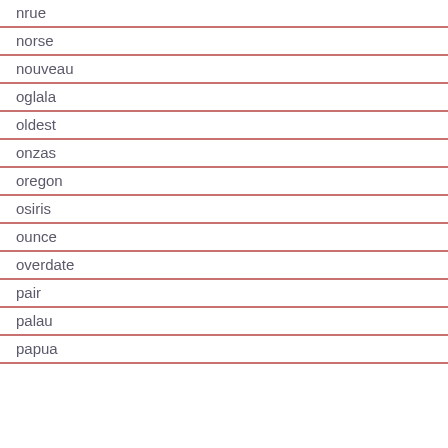nrue
norse
nouveau
oglala
oldest
onzas
oregon
osiris
ounce
overdate
pair
palau
papua